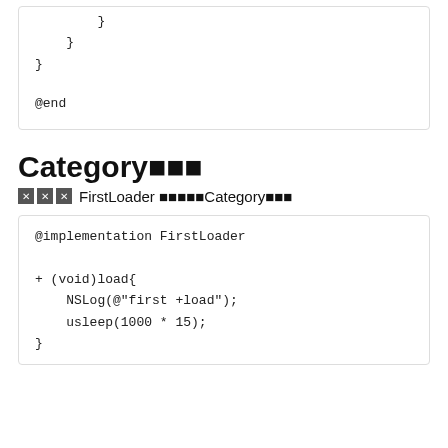}
    }
}
@end
Category■■■
■■■ FirstLoader ■■■■■Category■■■
@implementation FirstLoader

+ (void)load{
    NSLog(@"first +load");
    usleep(1000 * 15);
}